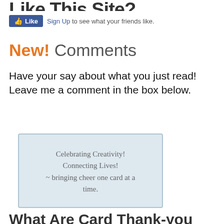Like This Site?
[Figure (screenshot): Facebook Like button with Sign Up link and text: Sign Up to see what your friends like.]
New! Comments
Have your say about what you just read! Leave me a comment in the box below.
Celebrating Creativity! Connecting Lives! ~ bringing cheer one card at a time.
What Are Card Thank-you Cards...